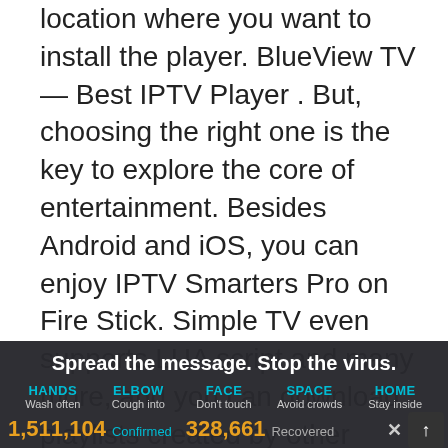location where you want to install the player. BlueView TV — Best IPTV Player . But, choosing the right one is the key to explore the core of entertainment. Besides Android and iOS, you can enjoy IPTV Smarters Pro on Fire Stick. Simple TV even supports LUA script and many more, and you can download playlists created by other users. Individual settings for the channels, the ability to record the stream to a file. There are playlists available in M3U format to help you enjoy the seamless streaming experience. You can watch videos and manually can also install third-party Kodi add-ons for live TV and Video on Demand. Built-
Spread the message. Stop the virus.
HANDS Wash often | ELBOW Cough into | FACE Don't touch | SPACE Avoid crowds | HOME Stay inside
1,511,104 Confirmed 328,661 Recovered